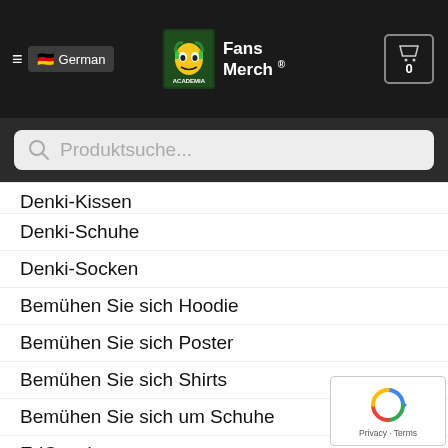German | My Hero Academia Fans Merch® | Cart 0
Produktsuche...
Denki-Kissen
Denki-Schuhe
Denki-Socken
Bemühen Sie sich Hoodie
Bemühen Sie sich Poster
Bemühen Sie sich Shirts
Bemühen Sie sich um Schuhe
EriCosplay
Eri-Hoodie
Eri Kissen
Eri-Poster
Eri-Shirts
Himiko Cosplay